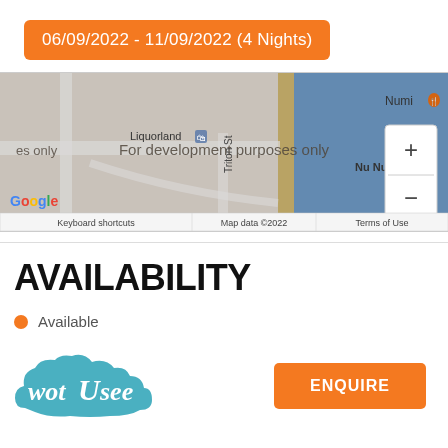06/09/2022 - 11/09/2022 (4 Nights)
[Figure (map): Google Maps screenshot showing street map with Liquorland, Numi restaurant, Nu Nu restaurant, and Triton St. Includes zoom controls (+/-). Map data ©2022. Shows coastal area with blue water on the right side. Watermarked 'For development purposes only'.]
AVAILABILITY
Available
[Figure (logo): wotUsee logo in teal/blue cloud shape with cursive text]
ENQUIRE